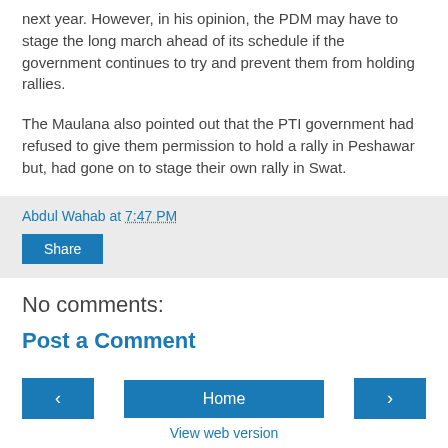next year. However, in his opinion, the PDM may have to stage the long march ahead of its schedule if the government continues to try and prevent them from holding rallies.
The Maulana also pointed out that the PTI government had refused to give them permission to hold a rally in Peshawar but, had gone on to stage their own rally in Swat.
Abdul Wahab at 7:47 PM
Share
No comments:
Post a Comment
< Home > View web version